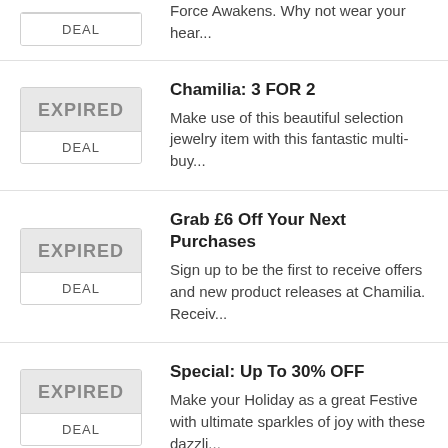DEAL | Force Awakens. Why not wear your hear...
EXPIRED DEAL | Chamilia: 3 FOR 2 | Make use of this beautiful selection jewelry item with this fantastic multi-buy...
EXPIRED DEAL | Grab £6 Off Your Next Purchases | Sign up to be the first to receive offers and new product releases at Chamilia. Receiv...
EXPIRED DEAL | Special: Up To 30% OFF | Make your Holiday as a great Festive with ultimate sparkles of joy with these dazzli...